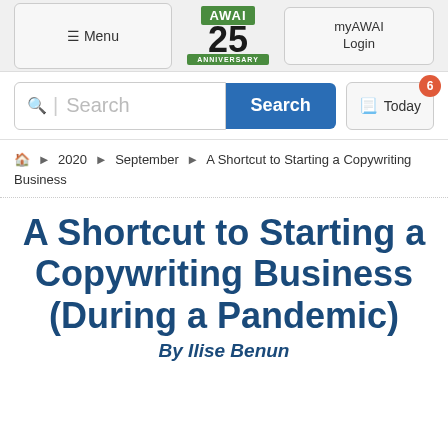Menu | AWAI 25 ANNIVERSARY | myAWAI Login
[Figure (screenshot): AWAI 25th Anniversary logo with green box and ribbon]
Search | Search | Today 6
Home > 2020 > September > A Shortcut to Starting a Copywriting Business
A Shortcut to Starting a Copywriting Business (During a Pandemic)
By Ilise Benun